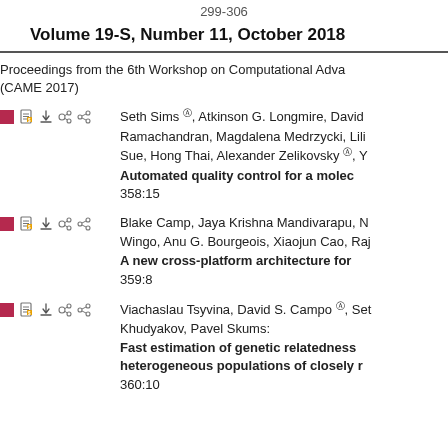299-306
Volume 19-S, Number 11, October 2018
Proceedings from the 6th Workshop on Computational Adva... (CAME 2017)
Seth Sims, Atkinson G. Longmire, David Ramachandran, Magdalena Medrzycki, Lili... Sue, Hong Thai, Alexander Zelikovsky, Y... Automated quality control for a molec... 358:15
Blake Camp, Jaya Krishna Mandivarapu, N... Wingo, Anu G. Bourgeois, Xiaojun Cao, Raj... A new cross-platform architecture for ... 359:8
Viachaslau Tsyvina, David S. Campo, Set... Khudyakov, Pavel Skums: Fast estimation of genetic relatedness... heterogeneous populations of closely r... 360:10